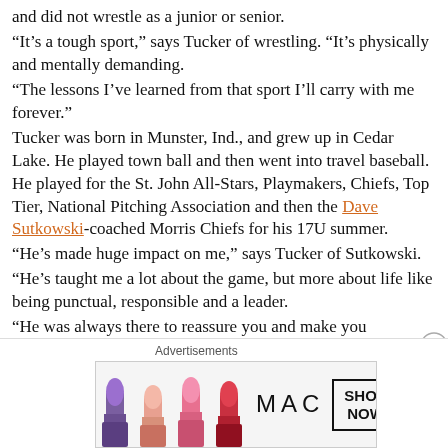and did not wrestle as a junior or senior.
“It’s a tough sport,” says Tucker of wrestling. “It’s physically and mentally demanding.
“The lessons I’ve learned from that sport I’ll carry with me forever.”
Tucker was born in Munster, Ind., and grew up in Cedar Lake. He played town ball and then went into travel baseball. He played for the St. John All-Stars, Playmakers, Chiefs, Top Tier, National Pitching Association and then the Dave Sutkowski-coached Morris Chiefs for his 17U summer.
“He’s made huge impact on me,” says Tucker of Sutkowski.
“He’s taught me a lot about the game, but more about life like being punctual, responsible and a leader.
“He was always there to reassure you and make you confident.
“It’s about the man you become.”
Tucker is scheduled to join the Prospect League’s Lafayette...
Advertisements
[Figure (other): MAC cosmetics advertisement banner showing lipsticks in purple, peach, pink colors with MAC logo and SHOP NOW button]